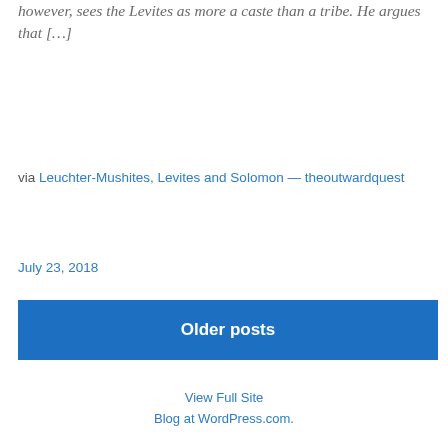however, sees the Levites as more a caste than a tribe. He argues that […]
via Leuchter-Mushites, Levites and Solomon — theoutwardquest
July 23, 2018
Older posts
View Full Site
Blog at WordPress.com.